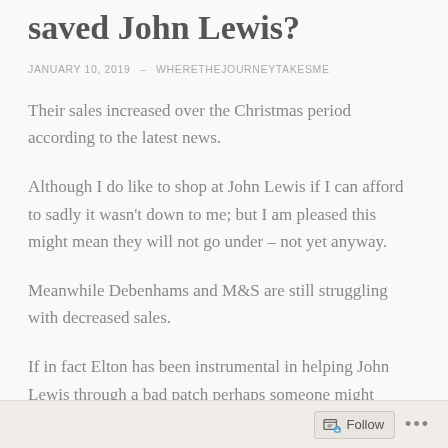saved John Lewis?
JANUARY 10, 2019  –  WHERETHEJOURNEYTAKESME
Their sales increased over the Christmas period according to the latest news.
Although I do like to shop at John Lewis if I can afford to sadly it wasn't down to me;  but I am pleased this might mean they will not go under – not yet anyway.
Meanwhile Debenhams and M&S are still struggling with decreased sales.
If in fact Elton has been instrumental in helping John Lewis through a bad patch perhaps someone might